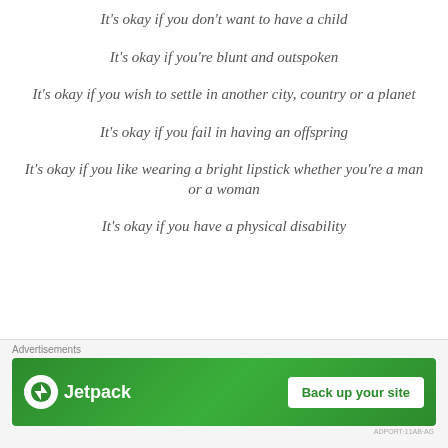It’s okay if you don’t want to have a child
It’s okay if you’re blunt and outspoken
It’s okay if you wish to settle in another city, country or a planet
It’s okay if you fail in having an offspring
It’s okay if you like wearing a bright lipstick whether you’re a man or a woman
It’s okay if you have a physical disability
Advertisements
[Figure (logo): Jetpack advertisement banner with green background, Jetpack logo on left and 'Back up your site' button on right]